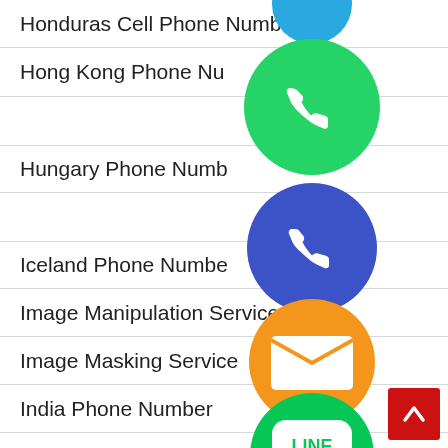Honduras Cell Phone Numbers
Hong Kong Phone Numbers
Hungary Phone Numbers
Iceland Phone Numbers
Image Manipulation Service
Image Masking Service
India Phone Number
Indonesia Mobile Numbers
Israel Phone Number
[Figure (illustration): Floating social media and communication app icons: WhatsApp (green), Viber/phone (purple-blue), Email (orange), LINE (green), Viber (purple), close/cancel (green), and a partially visible blue circle at the top]